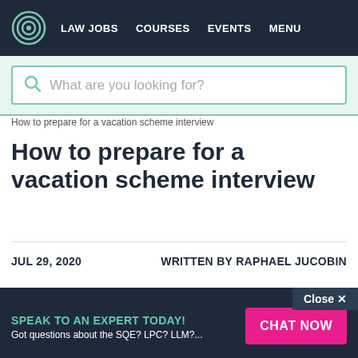LAW JOBS  COURSES  EVENTS  MENU
[Figure (screenshot): Search bar with placeholder text 'What are you looking for?']
How to prepare for a vacation scheme interview
How to prepare for a vacation scheme interview
JUL 29, 2020
WRITTEN BY RAPHAEL JUCOBIN
Close X
SPEAK TO AN EXPERT TODAY! Got questions about the SQE? LPC? LLM?...
CHAT NOW